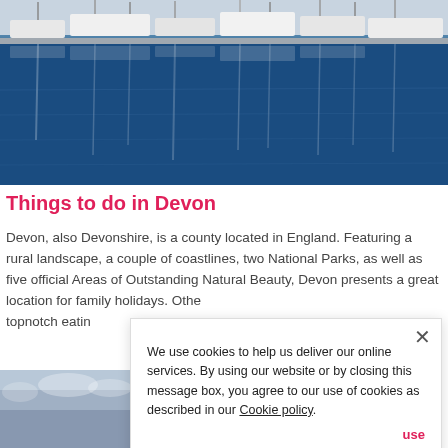[Figure (photo): Marina with white boats moored at dock, blue water reflections]
Things to do in Devon
Devon, also Devonshire, is a county located in England. Featuring a rural landscape, a couple of coastlines, two National Parks, as well as five official Areas of Outstanding Natural Beauty, Devon presents a great location for family holidays. Othe... topnotch eatin...
[Figure (photo): Partial photo at bottom left, cloudy sky scene]
We use cookies to help us deliver our online services. By using our website or by closing this message box, you agree to our use of cookies as described in our Cookie policy.
use